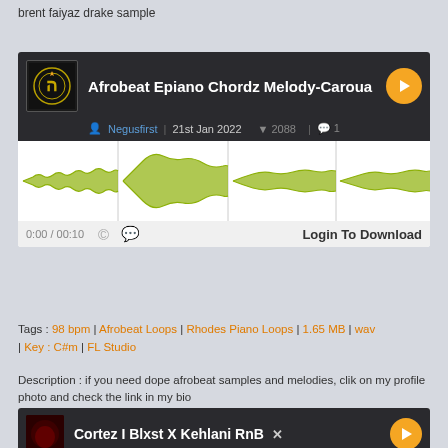brent faiyaz drake sample
[Figure (screenshot): Audio sample card for 'Afrobeat Epiano Chordz Melody-Caroua' by Negusfirst, 21st Jan 2022, 2088 downloads, 1 comment, with waveform display and Login To Download button]
Tags : 98 bpm | Afrobeat Loops | Rhodes Piano Loops | 1.65 MB | wav | Key : C#m | FL Studio
Description : if you need dope afrobeat samples and melodies, clik on my profile photo and check the link in my bio
[Figure (screenshot): Audio sample card for 'Cortez I Blxst X Kehlani RnB' by Ratze, 9th Jul 2022, 1630 downloads, 1 comment]